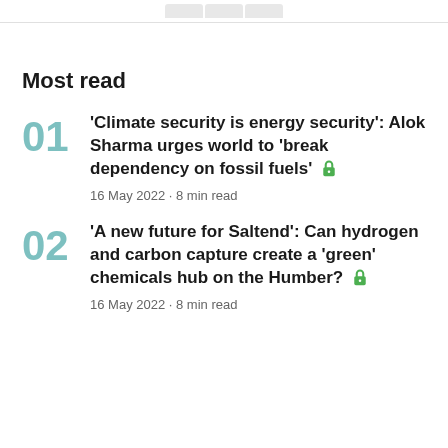Most read
'Climate security is energy security': Alok Sharma urges world to 'break dependency on fossil fuels' 🔒
16 May 2022 • 8 min read
'A new future for Saltend': Can hydrogen and carbon capture create a 'green' chemicals hub on the Humber? 🔒
16 May 2022 • 8 min read